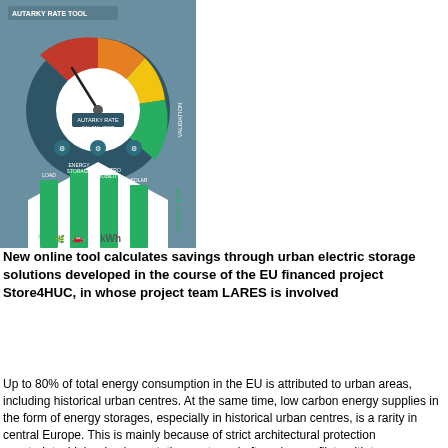[Figure (infographic): Autarky Rate Tool infographic showing a gauge/speedometer chart at top with red-yellow-green sectors and a needle, below it a house-shaped graphic with green bar columns and icons representing energy storage, solar panels, EV, and kWh labels. Teal/blue-gray background.]
New online tool calculates savings through urban electric storage solutions developed in the course of the EU financed project Store4HUC, in whose project team LARES is involved
Up to 80% of total energy consumption in the EU is attributed to urban areas, including historical urban centres. At the same time, low carbon energy supplies in the form of energy storages, especially in historical urban centres, is a rarity in central Europe. This is mainly because of strict architectural protection constraints, higher implementation costs and often also conflicts with town planning policies. The Store4HUC project now offers the Autarky Rate Tool to address such conflicts. This